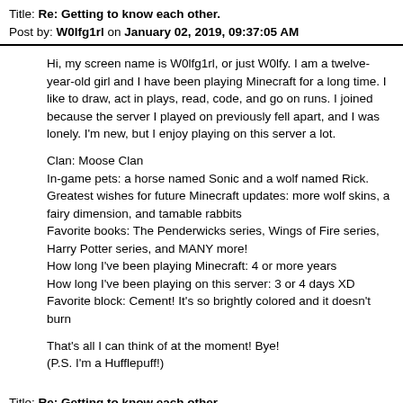Title: Re: Getting to know each other.
Post by: W0lfg1rl on January 02, 2019, 09:37:05 AM
Hi, my screen name is W0lfg1rl, or just W0lfy. I am a twelve-year-old girl and I have been playing Minecraft for a long time. I like to draw, act in plays, read, code, and go on runs. I joined because the server I played on previously fell apart, and I was lonely. I'm new, but I enjoy playing on this server a lot.

Clan: Moose Clan
In-game pets: a horse named Sonic and a wolf named Rick.
Greatest wishes for future Minecraft updates: more wolf skins, a fairy dimension, and tamable rabbits
Favorite books: The Penderwicks series, Wings of Fire series, Harry Potter series, and MANY more!
How long I've been playing Minecraft: 4 or more years
How long I've been playing on this server: 3 or 4 days XD
Favorite block: Cement! It's so brightly colored and it doesn't burn

That's all I can think of at the moment! Bye!
(P.S. I'm a Hufflepuff!)
Title: Re: Getting to know each other.
Post by: Agawaateshin on April 29, 2022, 06:20:15 PM
Hello all
I'm Brooke. I like reading tons of books, draw, sculpt and